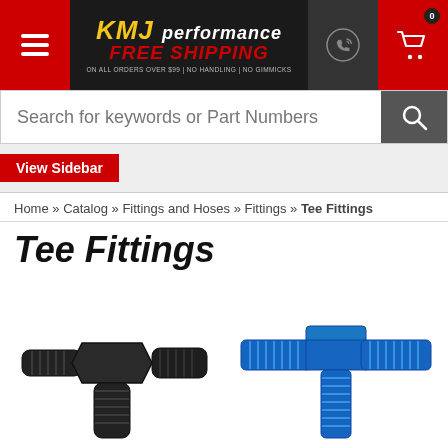[Figure (screenshot): KMJ Performance website header with hamburger menu (red), KMJ Performance logo with 'FREE SHIPPING' text, phone icon (dark gray), and shopping cart icon (red) with badge showing 0]
[Figure (screenshot): Search bar with placeholder text 'Search for keywords or Part Numbers' and a search button with magnifying glass icon]
View Sidebar
Home » Catalog » Fittings and Hoses » Fittings » Tee Fittings
Tee Fittings
[Figure (photo): Black anodized tee fitting connector, AN style, with threaded ends]
[Figure (photo): Blue anodized tee fitting connector, AN style, with threaded ends]
[Figure (photo): Blue anodized fitting, partially visible at bottom of page]